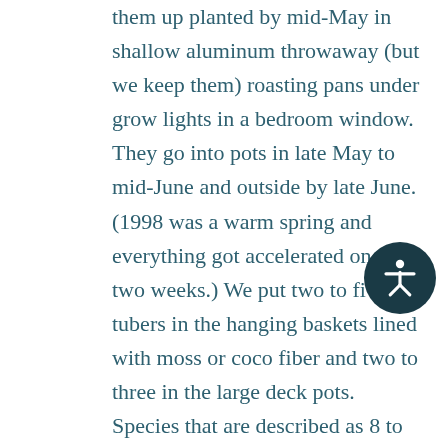them up planted by mid-May in shallow aluminum throwaway (but we keep them) roasting pans under grow lights in a bedroom window. They go into pots in late May to mid-June and outside by late June. (1998 was a warm spring and everything got accelerated one to two weeks.) We put two to five tubers in the hanging baskets lined with moss or coco fiber and two to three in the large deck pots. Species that are described as 8 to 12″ tall get 3′ high for us so staking is always a problem.. (I suppose with no frost they'd rival the house in size. I was amused at the lady's description of a neglected begonia that rooted to her greenhouse floor and hit the ceiling, still growing!) We are always hunting down